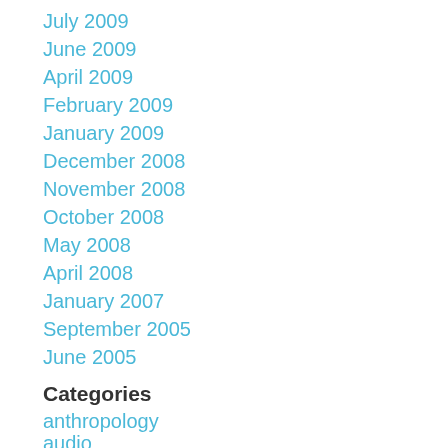July 2009
June 2009
April 2009
February 2009
January 2009
December 2008
November 2008
October 2008
May 2008
April 2008
January 2007
September 2005
June 2005
Categories
anthropology
audio
automotive
bikes